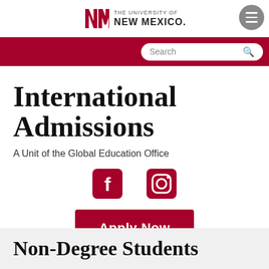[Figure (logo): University of New Mexico logo with NM letters and text 'THE UNIVERSITY OF NEW MEXICO.']
[Figure (other): Gray circular hamburger menu button with three white lines]
[Figure (other): Dark red navigation bar with white search box and magnifying glass icon]
International Admissions
A Unit of the Global Education Office
[Figure (other): Facebook and Instagram social media icons in dark red squares/circles]
[Figure (other): Apply Now button in dark red]
Non-Degree Students